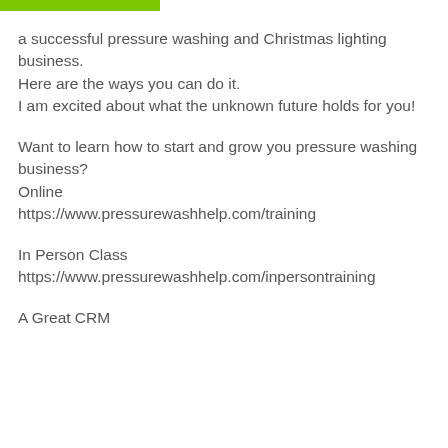a successful pressure washing and Christmas lighting business.
Here are the ways you can do it.
I am excited about what the unknown future holds for you!
Want to learn how to start and grow you pressure washing business?
Online
https://www.pressurewashhelp.com/training
In Person Class
https://www.pressurewashhelp.com/inpersontraining
A Great CRM